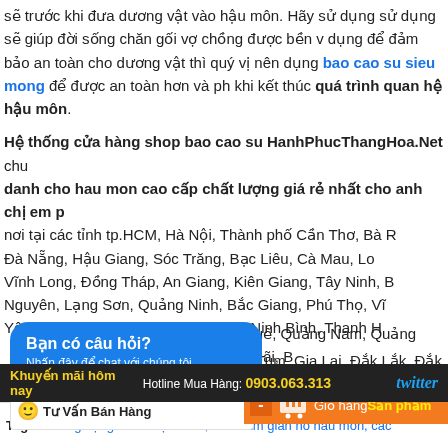sẽ trước khi đưa dương vật vào hậu môn. Hãy sử dụng sử dụng sẽ giúp đời sống chăn gối vợ chồng được bền vững dụng để đảm bảo an toàn cho dương vật thì quý vị nên dụng bao cao su sieu mong để được an toàn hơn và phòng khi kết thúc quá trình quan hệ hậu môn.
Hệ thống cửa hàng shop bao cao su HanhPhucThangHoa.Net chuyên danh cho hau mon cao cấp chất lượng giá rẻ nhất cho anh chị em phụ nơi tại các tỉnh tp.HCM, Hà Nội, Thành phố Cần Thơ, Bà Rịa - Đà Nẵng, Hậu Giang, Sóc Trăng, Bạc Liêu, Cà Mau, Long An, Vĩnh Long, Đồng Tháp, An Giang, Kiên Giang, Tây Ninh, Bình Nguyên, Lạng Sơn, Quảng Ninh, Bắc Giang, Phú Thọ, Vĩnh Yên, Thái Bình, Hà Nam, Nam Định, Ninh Bình, Thanh H- Huế, Quảng Nam, Quảng Ngãi, Bình- Kon Tum, Gia Lai, Đắk Lắk, Đắk Nô
[Figure (screenshot): Blue chat bubble overlay with text 'Bạn có câu hỏi?' and subtitle 'Nhấn đây để chat với chúng tôi.']
[Figure (screenshot): Orange cart bar with minus button, shopping cart icon, 'Giỏ hàng' and 'Sản phẩm' text]
Minh, tp.hanoi
[Figure (screenshot): Bottom dark bar with 'Khuyến mãi hôm nay', 'Hotline Mua Hàng: 0903.063.313', and twitter logo]
Tags: dương vật giả cho hậu môn, cach lam gian no hau mon, các